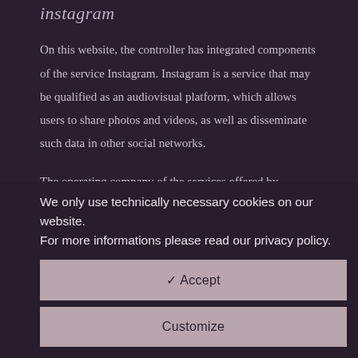instagram
On this website, the controller has integrated components of the service Instagram. Instagram is a service that may be qualified as an audiovisual platform, which allows users to share photos and videos, as well as disseminate such data in other social networks.
The operating company of the services offered by Instagram is Facebook Ireland Ltd., 4 Grand Canal Square, Grand Canal Harbour, Dublin 2, Ireland.
We only use technically necessary cookies on our website. For more informations please read our privacy policy.
✓ Accept
Customize